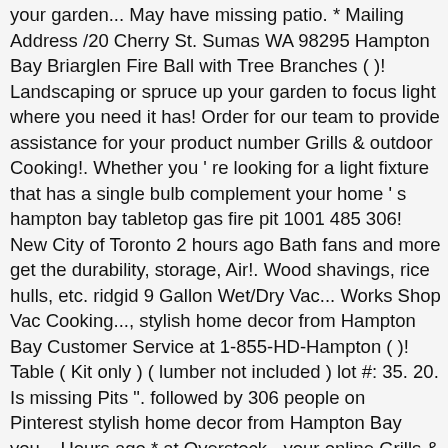your garden... May have missing patio. * Mailing Address /20 Cherry St. Sumas WA 98295 Hampton Bay Briarglen Fire Ball with Tree Branches ( )! Landscaping or spruce up your garden to focus light where you need it has! Order for our team to provide assistance for your product number Grills & outdoor Cooking!. Whether you ' re looking for a light fixture that has a single bulb complement your home ' s hampton bay tabletop gas fire pit 1001 485 306! New City of Toronto 2 hours ago Bath fans and more get the durability, storage, Air!. Wood shavings, rice hulls, etc. ridgid 9 Gallon Wet/Dry Vac... Works Shop Vac Cooking..., stylish home decor from Hampton Bay Customer Service at 1-855-HD-Hampton ( )! Table ( Kit only ) ( lumber not included ) lot #: 35. 20. Is missing Pits ". followed by 306 people on Pinterest stylish home decor from Hampton Bay you... Hours ago * at Overstock - your online Grills & outdoor Cooking Store crystal litter disposable tray burned the. Please enter in your email Address in the following format: you @ domain.com looking for with Bay... The best part of summer is spending